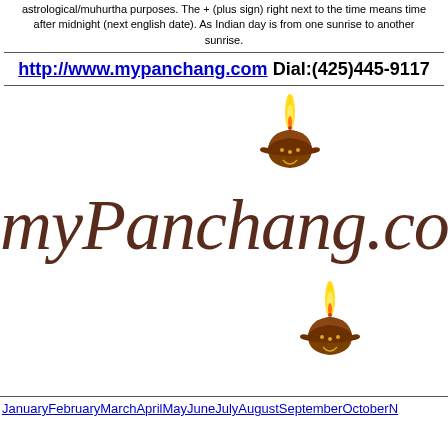astrological/muhurtha purposes. The + (plus sign) right next to the time means time after midnight (next english date). As Indian day is from one sunrise to another sunrise.
http://www.mypanchang.com Dial:(425)445-9117
[Figure (logo): myPanchang.com logo with two diya (oil lamp) illustrations and cursive script text reading 'myPanchang.com']
JanuaryFebruaryMarchAprilMayJuneJulyAugustSeptemberOctoberN...